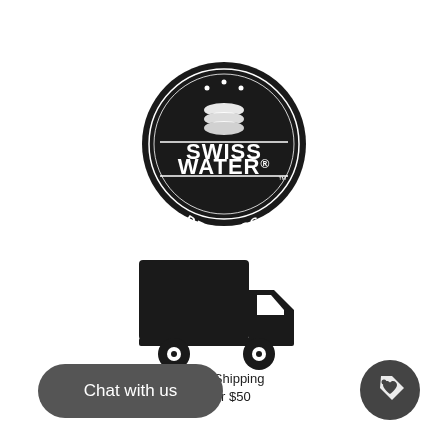[Figure (logo): Swiss Water Process certified badge – black circular badge with 'SWISS WATER® PROCESS™' text and a stylized water droplet/filter icon]
Certified Swiss Water Process
[Figure (illustration): Black silhouette icon of a delivery truck facing right]
Free Shipping Over $50
Chat with us
[Figure (illustration): Dark circular button with a price tag / heart tag icon inside]